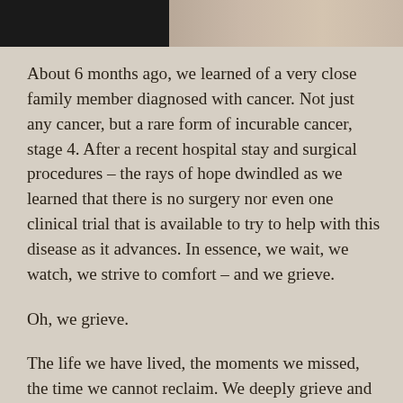[Figure (photo): Partial photo strip at top showing dark/black on left and tan/beige fur or skin tones on the right]
About 6 months ago, we learned of a very close family member diagnosed with cancer. Not just any cancer, but a rare form of incurable cancer, stage 4. After a recent hospital stay and surgical procedures – the rays of hope dwindled as we learned that there is no surgery nor even one clinical trial that is available to try to help with this disease as it advances. In essence, we wait, we watch, we strive to comfort – and we grieve.
Oh, we grieve.
The life we have lived, the moments we missed, the time we cannot reclaim. We deeply grieve and we learn. What a process this is! You cannot force someone to deal with their own mortality. Whether they accept their fate or not, it effects all in the family unit. The